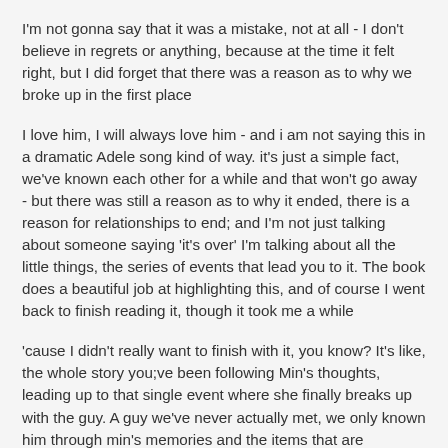I'm not gonna say that it was a mistake, not at all - I don't believe in regrets or anything, because at the time it felt right, but I did forget that there was a reason as to why we broke up in the first place
I love him, I will always love him - and i am not saying this in a dramatic Adele song kind of way. it's just a simple fact, we've known each other for a while and that won't go away - but there was still a reason as to why it ended, there is a reason for relationships to end; and I'm not just talking about someone saying 'it's over' I'm talking about all the little things, the series of events that lead you to it. The book does a beautiful job at highlighting this, and of course I went back to finish reading it, though it took me a while
'cause I didn't really want to finish with it, you know? It's like, the whole story you;ve been following Min's thoughts, leading up to that single event where she finally breaks up with the guy. A guy we've never actually met, we only known him through min's memories and the items that are somehow linked to him.